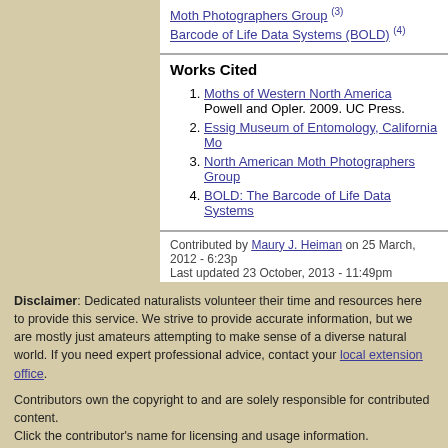Moth Photographers Group (3)
Barcode of Life Data Systems (BOLD) (4)
Works Cited
1. Moths of Western North America — Powell and Opler. 2009. UC Press.
2. Essig Museum of Entomology, California Mo...
3. North American Moth Photographers Group
4. BOLD: The Barcode of Life Data Systems
Contributed by Maury J. Heiman on 25 March, 2012 - 6:23pm
Last updated 23 October, 2013 - 11:49pm
Disclaimer: Dedicated naturalists volunteer their time and resources here to provide this service. We strive to provide accurate information, but we are mostly just amateurs attempting to make sense of a diverse natural world. If you need expert professional advice, contact your local extension office.
Contributors own the copyright to and are solely responsible for contributed content.
Click the contributor's name for licensing and usage information.
Everything else copyright © 2003-2022 Iowa State University, unless otherwise noted.
Bugguide is hosted by:
Iowa State University